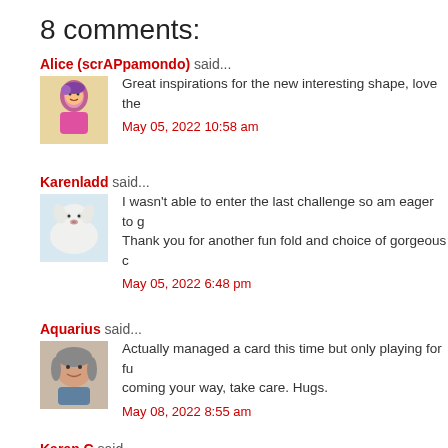8 comments:
Alice (scrAPpamondo) said... Great inspirations for the new interesting shape, love the... May 05, 2022 10:58 am
Karenladd said... I wasn't able to enter the last challenge so am eager to g... Thank you for another fun fold and choice of gorgeous c... May 05, 2022 6:48 pm
Aquarius said... Actually managed a card this time but only playing for fu... coming your way, take care. Hugs. May 08, 2022 8:55 am
Karen C said...